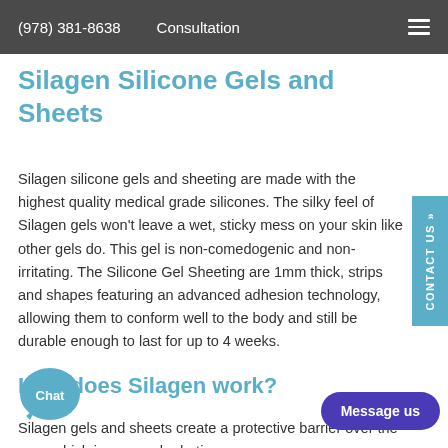(978) 381-8638  Consultation
Silagen Silicone Gels and Sheets
Silagen silicone gels and sheeting are made with the highest quality medical grade silicones. The silky feel of Silagen gels won't leave a wet, sticky mess on your skin like other gels do. This gel is non-comedogenic and non-irritating. The Silicone Gel Sheeting are 1mm thick, strips and shapes featuring an advanced adhesion technology, allowing them to conform well to the body and still be durable enough to last for up to 4 weeks.
How does Silagen work?
Silagen gels and sheets create a protective barrier over the scar, which increases hydration